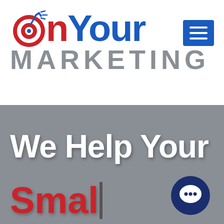[Figure (logo): OnYour Marketing logo with target/dart icon, 'OnYour' in red and blue bold text, 'MARKETING' in gray spaced caps below]
[Figure (logo): Blue square hamburger menu button with three white horizontal lines]
We Help Your
Smal|
[Figure (logo): Dark blue circular chat bubble icon with three dots, bottom right corner]